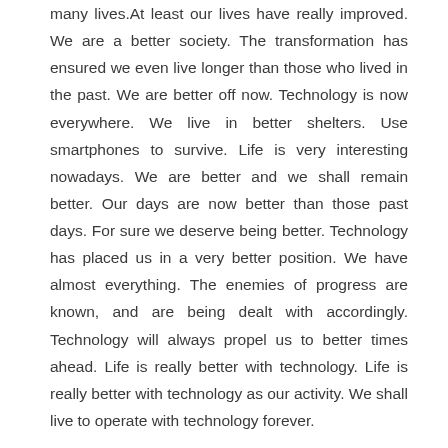many lives.At least our lives have really improved. We are a better society. The transformation has ensured we even live longer than those who lived in the past. We are better off now. Technology is now everywhere. We live in better shelters. Use smartphones to survive. Life is very interesting nowadays. We are better and we shall remain better. Our days are now better than those past days. For sure we deserve being better. Technology has placed us in a very better position. We have almost everything. The enemies of progress are known, and are being dealt with accordingly. Technology will always propel us to better times ahead. Life is really better with technology. Life is really better with technology as our activity. We shall live to operate with technology forever.